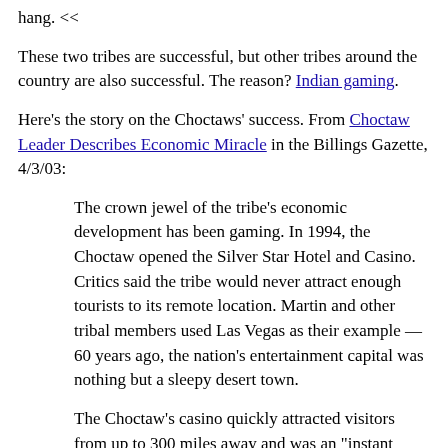hang. <<
These two tribes are successful, but other tribes around the country are also successful. The reason? Indian gaming.
Here's the story on the Choctaws' success. From Choctaw Leader Describes Economic Miracle in the Billings Gazette, 4/3/03:
The crown jewel of the tribe's economic development has been gaming. In 1994, the Choctaw opened the Silver Star Hotel and Casino. Critics said the tribe would never attract enough tourists to its remote location. Martin and other tribal members used Las Vegas as their example — 60 years ago, the nation's entertainment capital was nothing but a sleepy desert town.
The Choctaw's casino quickly attracted visitors from up to 300 miles away and was an "instant success," Martin said. Last year, the tribe opened a new 843,000 square-foot casino. The $750 million Pearl River Resort has 1,000 guest rooms, 4,000 employees and is situated on a 285-acre man-made lake, complete with a white sand beach.
Gaming has done to the reservation what oil has done to Saudi Arabia. The Choctaw have a modern hospital, good schools and a well-trained police force. Most importantly,